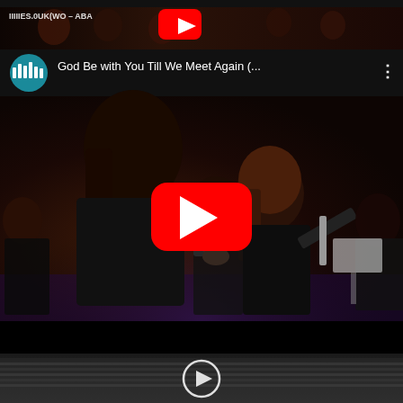[Figure (screenshot): Screenshot of a mobile device showing YouTube video player interface with two videos visible. The main video is titled 'God Be with You Till We Meet Again (...)' showing an orchestra/wind ensemble performing, with a large red YouTube play button overlay. Musicians in black clothing playing flutes/wind instruments are visible. A second partial video thumbnail appears at top and bottom edges of the screen. The YouTube interface shows a teal/blue channel icon with a waveform graphic.]